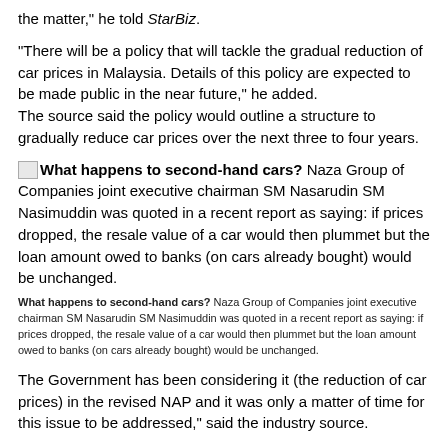the matter," he told StarBiz.
"There will be a policy that will tackle the gradual reduction of car prices in Malaysia. Details of this policy are expected to be made public in the near future," he added. The source said the policy would outline a structure to gradually reduce car prices over the next three to four years.
[image] What happens to second-hand cars? Naza Group of Companies joint executive chairman SM Nasarudin SM Nasimuddin was quoted in a recent report as saying: if prices dropped, the resale value of a car would then plummet but the loan amount owed to banks (on cars already bought) would be unchanged.
What happens to second-hand cars? Naza Group of Companies joint executive chairman SM Nasarudin SM Nasimuddin was quoted in a recent report as saying: if prices dropped, the resale value of a car would then plummet but the loan amount owed to banks (on cars already bought) would be unchanged.
The Government has been considering it (the reduction of car prices) in the revised NAP and it was only a matter of time for this issue to be addressed," said the industry source.